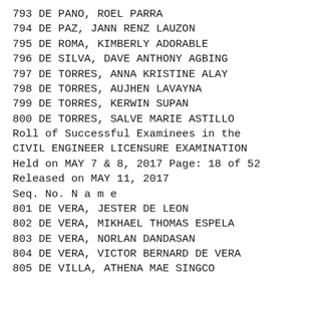793 DE PANO, ROEL PARRA
794 DE PAZ, JANN RENZ LAUZON
795 DE ROMA, KIMBERLY ADORABLE
796 DE SILVA, DAVE ANTHONY AGBING
797 DE TORRES, ANNA KRISTINE ALAY
798 DE TORRES, AUJHEN LAVAYNA
799 DE TORRES, KERWIN SUPAN
800 DE TORRES, SALVE MARIE ASTILLO
Roll of Successful Examinees in the
CIVIL ENGINEER LICENSURE EXAMINATION
Held on MAY 7 & 8, 2017 Page: 18 of 52
Released on MAY 11, 2017
Seq. No. N a m e
801 DE VERA, JESTER DE LEON
802 DE VERA, MIKHAEL THOMAS ESPELA
803 DE VERA, NORLAN DANDASAN
804 DE VERA, VICTOR BERNARD DE VERA
805 DE VILLA, ATHENA MAE SINGCO